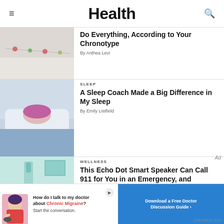Health
[Figure (photo): Partial view of decorative string with small ornaments or berries against a light background]
Do Everything, According to Your Chronotype
By Anthea Levi
[Figure (photo): Person lying in bed sleeping, with pillow and blue blanket, pink hair visible]
SLEEP
A Sleep Coach Made a Big Difference in My Sleep
By Emily Listfield
[Figure (photo): Medical or wellness room interior with teal/mint green walls and equipment]
WELLNESS
This Echo Dot Smart Speaker Can Call 911 for You in an Emergency, and
[Figure (illustration): Advertisement banner: woman asking about Chronic Migraine with doctor discussion guide download button. UNB145628 05/21]